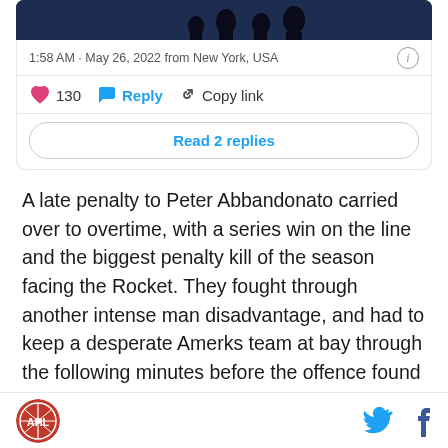[Figure (screenshot): Tweet card showing image with silhouettes, timestamp '1:58 AM · May 26, 2022 from New York, USA', 130 likes, Reply, Copy link, and Read 2 replies button]
A late penalty to Peter Abbandonato carried over to overtime, with a series win on the line and the biggest penalty kill of the season facing the Rocket. They fought through another intense man disadvantage, and had to keep a desperate Amerks team at bay through the following minutes before the offence found its legs again.
Footer with site logo and social media icons (Twitter, Facebook)